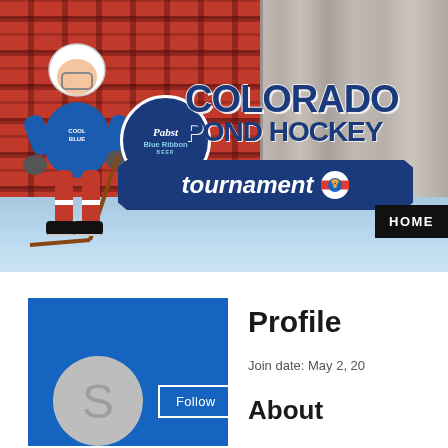[Figure (screenshot): Colorado Pond Hockey Tournament website header banner with Pabst Blue Ribbon logo, hockey player illustration, plaid and wood texture background, ice rink at bottom, and HOME navigation button.]
[Figure (photo): Blue profile image box with grey circular avatar showing letter S, Follow button, and three-dots menu icon.]
Profile
Join date: May 2, 20
About